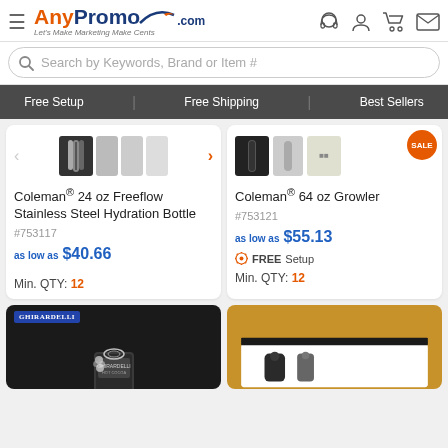[Figure (logo): AnyPromo.com logo with hamburger menu icon and tagline 'Let's Make Marketing Make Cents']
[Figure (screenshot): Header icons: headset, user account, shopping cart, mail envelope]
Search by Keywords, Brand or Item #
Free Setup   Free Shipping   Best Sellers
[Figure (photo): Product thumbnails for Coleman 24 oz Freeflow Stainless Steel Hydration Bottle showing multiple color variants]
Coleman® 24 oz Freeflow Stainless Steel Hydration Bottle
#753117
as low as $40.66
Min. QTY: 12
[Figure (photo): Product thumbnails for Coleman 64 oz Growler showing black, silver, and bundle variants with SALE badge]
Coleman® 64 oz Growler
#753121
as low as $55.13
FREE Setup
Min. QTY: 12
[Figure (photo): Ghirardelli branded gift set with chocolate tin and decorative bow on dark background]
[Figure (photo): Gold gift box set containing bottles/flasks on white interior background]